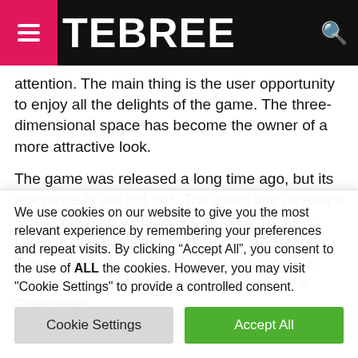TEBREE
attention. The main thing is the user opportunity to enjoy all the delights of the game. The three-dimensional space has become the owner of a more attractive look.
The game was released a long time ago, but its relevance is still not lost. The event line develops in a city named as Liberty City. New York was taken as the basis for creating city landscapes. The protagonist is a hero who has become a victim of betrayal by his own girlfriend and a Colombian
We use cookies on our website to give you the most relevant experience by remembering your preferences and repeat visits. By clicking “Accept All”, you consent to the use of ALL the cookies. However, you may visit "Cookie Settings" to provide a controlled consent.